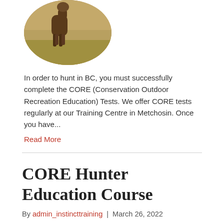[Figure (photo): Circular cropped photo of an elk (deer/moose-like animal) standing in a grassy field, shown partially at top of page]
In order to hunt in BC, you must successfully complete the CORE (Conservation Outdoor Recreation Education) Tests. We offer CORE tests regularly at our Training Centre in Metchosin. Once you have...
Read More
CORE Hunter Education Course
By admin_instincttraining | March 26, 2022
[Figure (photo): Circular cropped photo of deer/elk antlers in a green field, shown partially at bottom of page]